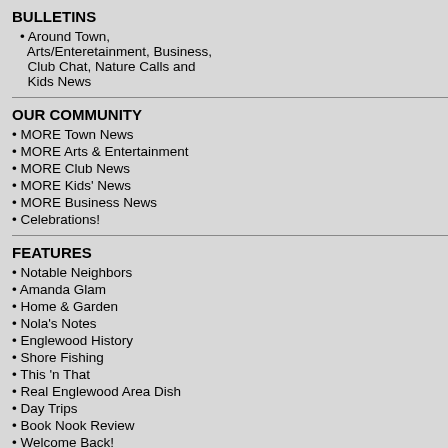BULLETINS
Around Town, Arts/Enteretainment, Business, Club Chat, Nature Calls and Kids News
OUR COMMUNITY
MORE Town News
MORE Arts & Entertainment
MORE Club News
MORE Kids' News
MORE Business News
Celebrations!
FEATURES
Notable Neighbors
Amanda Glam
Home & Garden
Nola's Notes
Englewood History
Shore Fishing
This 'n That
Real Englewood Area Dish
Day Trips
Book Nook Review
Welcome Back!
|  | 1 |
| --- | --- |
| 7 | 8 |
| 14 | 15 |
| 21 | 22 |
| 28 | 29 |
To vi
| Event | Line Danci |
| --- | --- |
| City | Englewoo |
| Place | American L |
| Address | 3436 India |
| Details | Intermiedia |
| Start Date | Friday, Jan |
| Start Time | 9:30 AM |
| End Time | 11:30 AM |
| Additional Information | Come have Eve at 697 |
| Phone | 941697873 |